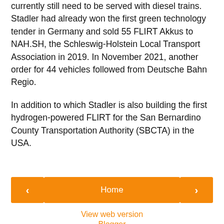currently still need to be served with diesel trains. Stadler had already won the first green technology tender in Germany and sold 55 FLIRT Akkus to NAH.SH, the Schleswig-Holstein Local Transport Association in 2019. In November 2021, another order for 44 vehicles followed from Deutsche Bahn Regio.
In addition to which Stadler is also building the first hydrogen-powered FLIRT for the San Bernardino County Transportation Authority (SBCTA) in the USA.
Share
‹
Home
›
View web version
Blogger